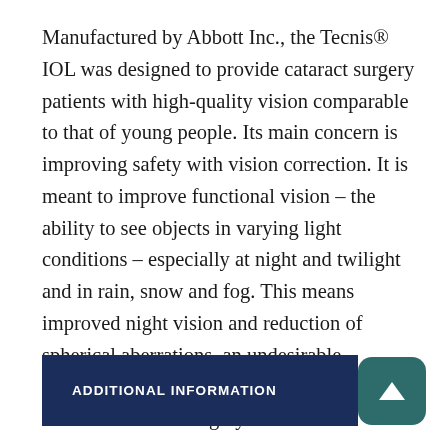Manufactured by Abbott Inc., the Tecnis® IOL was designed to provide cataract surgery patients with high-quality vision comparable to that of young people. Its main concern is improving safety with vision correction. It is meant to improve functional vision – the ability to see objects in varying light conditions – especially at night and twilight and in rain, snow and fog. This means improved night vision and reduction of spherical aberrations, an undesirable scattering of light that is a common side effect of cataract surgery.
ADDITIONAL INFORMATION